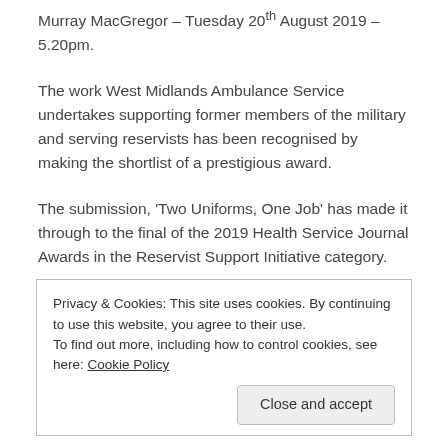Murray MacGregor – Tuesday 20th August 2019 – 5.20pm.
The work West Midlands Ambulance Service undertakes supporting former members of the military and serving reservists has been recognised by making the shortlist of a prestigious award.
The submission, 'Two Uniforms, One Job' has made it through to the final of the 2019 Health Service Journal Awards in the Reservist Support Initiative category.
Privacy & Cookies: This site uses cookies. By continuing to use this website, you agree to their use. To find out more, including how to control cookies, see here: Cookie Policy
experiences within the health sector.